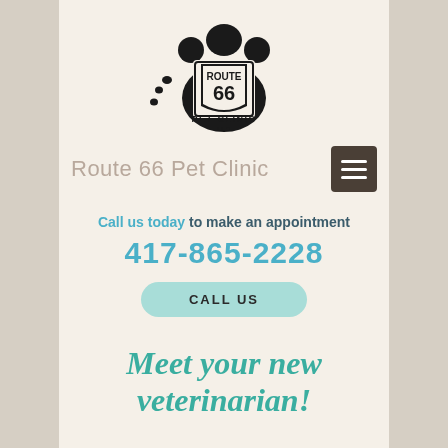[Figure (logo): Route 66 Pet Clinic LLC logo with paw print shape and Route 66 road sign]
Route 66 Pet Clinic
Call us today to make an appointment
417-865-2228
CALL US
Meet your new veterinarian!